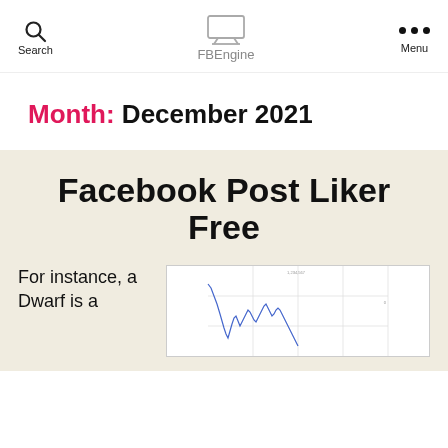Search | FBEngine | Menu
Month: December 2021
Facebook Post Liker Free
For instance, a Dwarf is a